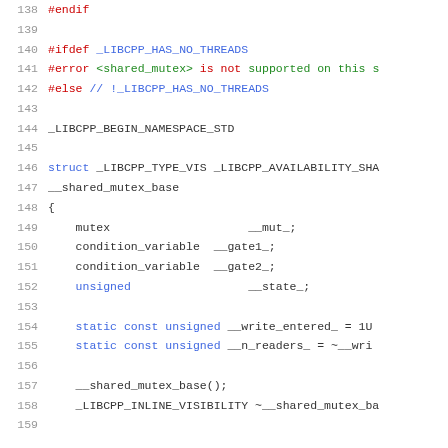Source code excerpt showing C++ preprocessor directives and struct definition for __shared_mutex_base in libcpp, lines 138-159